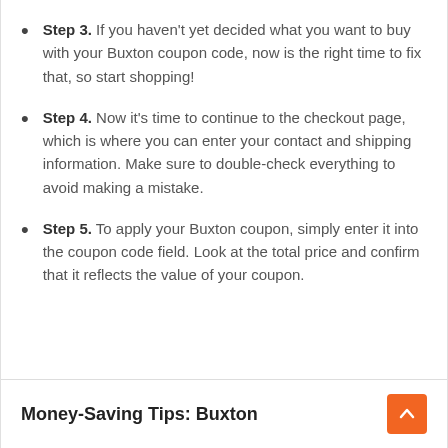Step 3. If you haven't yet decided what you want to buy with your Buxton coupon code, now is the right time to fix that, so start shopping!
Step 4. Now it's time to continue to the checkout page, which is where you can enter your contact and shipping information. Make sure to double-check everything to avoid making a mistake.
Step 5. To apply your Buxton coupon, simply enter it into the coupon code field. Look at the total price and confirm that it reflects the value of your coupon.
Money-Saving Tips: Buxton